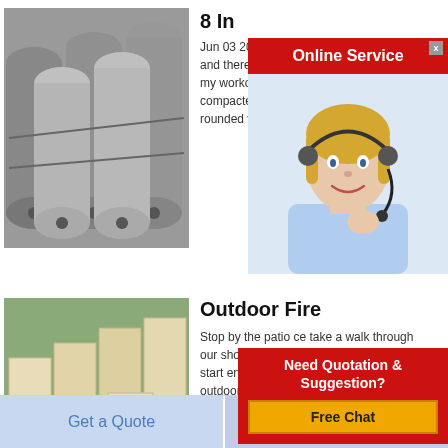[Figure (photo): Stack of cylindrical metal/graphite rods bundled together]
8 In
Jun 03 2020  each brick weights app 5# and there are 595 on a nicely in my 3/4 ton my workorder with t replacement and co compacted an 8 10 the brick the drivew rounded vs a single
[Figure (photo): Online Service popup with a female customer service agent wearing a headset, smiling]
[Figure (photo): Stack of rectangular pale yellow/cream fire bricks in a warehouse]
Outdoor Fire
Stop by the patio ce take a walk through our showroom pick out your favorite and start enjoying it now in your favorite outdoor space this fall gas fire pit tables the fire pit table is constructed of the
[Figure (infographic): Need Quotation & Suggestion? Free Chat popup button]
Get a Quote
Chat Now